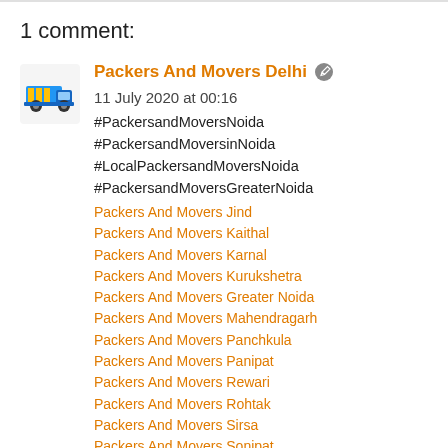1 comment:
Packers And Movers Delhi  11 July 2020 at 00:16
#PackersandMoversNoida
#PackersandMoversinNoida
#LocalPackersandMoversNoida
#PackersandMoversGreaterNoida
Packers And Movers Jind
Packers And Movers Kaithal
Packers And Movers Karnal
Packers And Movers Kurukshetra
Packers And Movers Greater Noida
Packers And Movers Mahendragarh
Packers And Movers Panchkula
Packers And Movers Panipat
Packers And Movers Rewari
Packers And Movers Rohtak
Packers And Movers Sirsa
Packers And Movers Sonipat
Packers And Movers Noida